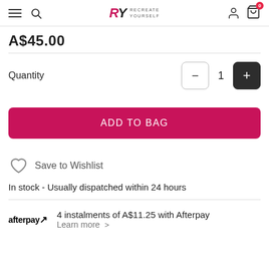RY RECREATE YOURSELF — navigation bar with hamburger, search, logo, user, cart (0)
A$45.00
Quantity  −  1  +
ADD TO BAG
Save to Wishlist
In stock - Usually dispatched within 24 hours
4 instalments of A$11.25 with Afterpay  Learn more >